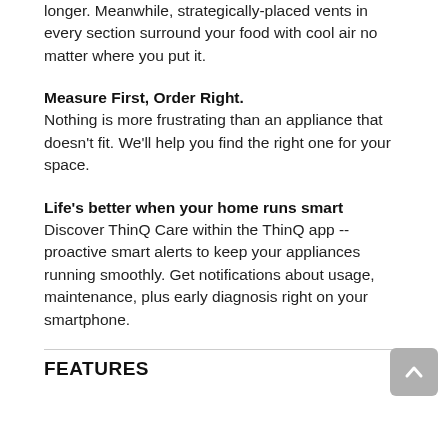longer. Meanwhile, strategically-placed vents in every section surround your food with cool air no matter where you put it.
Measure First, Order Right.
Nothing is more frustrating than an appliance that doesn't fit. We'll help you find the right one for your space.
Life's better when your home runs smart
Discover ThinQ Care within the ThinQ app -- proactive smart alerts to keep your appliances running smoothly. Get notifications about usage, maintenance, plus early diagnosis right on your smartphone.
FEATURES